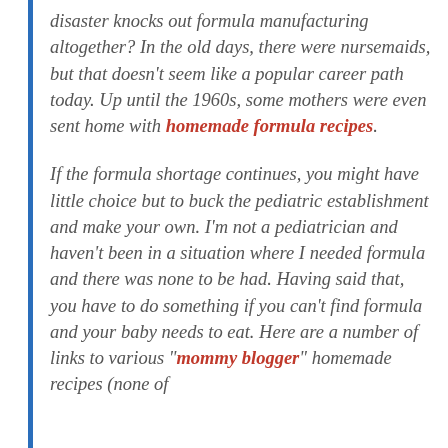disaster knocks out formula manufacturing altogether? In the old days, there were nursemaids, but that doesn't seem like a popular career path today. Up until the 1960s, some mothers were even sent home with homemade formula recipes.
If the formula shortage continues, you might have little choice but to buck the pediatric establishment and make your own. I'm not a pediatrician and haven't been in a situation where I needed formula and there was none to be had. Having said that, you have to do something if you can't find formula and your baby needs to eat. Here are a number of links to various "mommy blogger" homemade recipes (none of